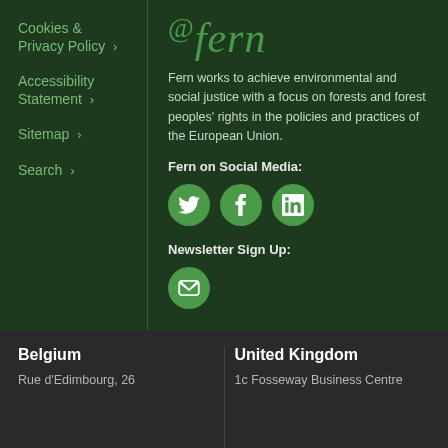Cookies & Privacy Policy >
Accessibility Statement >
Sitemap >
Search >
[Figure (logo): Fern logo in green italic serif font with @ symbol above the f]
Fern works to achieve environmental and social justice with a focus on forests and forest peoples' rights in the policies and practices of the European Union.
Fern on Social Media:
[Figure (infographic): Three green circular social media icons: Twitter (bird), Facebook (f), LinkedIn (in)]
Newsletter Sign Up:
[Figure (infographic): Green circular email/envelope icon for newsletter sign up]
Belgium
Rue d'Edimbourg, 26
United Kingdom
1c Fosseway Business Centre